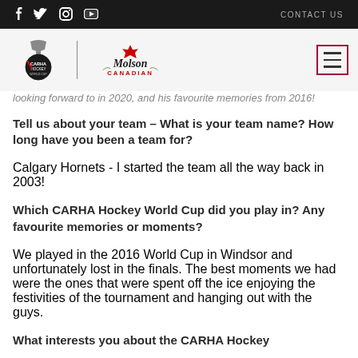f  t  [instagram]  [youtube]    CONTACT US
[Figure (logo): CARHA Hockey World Cup logo and Molson Canadian logo side by side with hamburger menu icon]
looking forward to in 2020, and his favourite memories from 2016!
Tell us about your team – What is your team name? How long have you been a team for?
Calgary Hornets - I started the team all the way back in 2003!
Which CARHA Hockey World Cup did you play in? Any favourite memories or moments?
We played in the 2016 World Cup in Windsor and unfortunately lost in the finals. The best moments we had were the ones that were spent off the ice enjoying the festivities of the tournament and hanging out with the guys.
What interests you about the CARHA Hockey